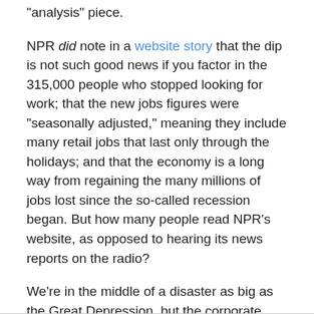“analysis” piece.
NPR did note in a website story that the dip is not such good news if you factor in the 315,000 people who stopped looking for work; that the new jobs figures were “seasonally adjusted,” meaning they include many retail jobs that last only through the holidays; and that the economy is a long way from regaining the many millions of jobs lost since the so-called recession began. But how many people read NPR’s website, as opposed to hearing its news reports on the radio?
We’re in the middle of a disaster as big as the Great Depression, but the corporate media, in the spirit of Herbert Hoover, run stories implying that prosperity is just around the corner.